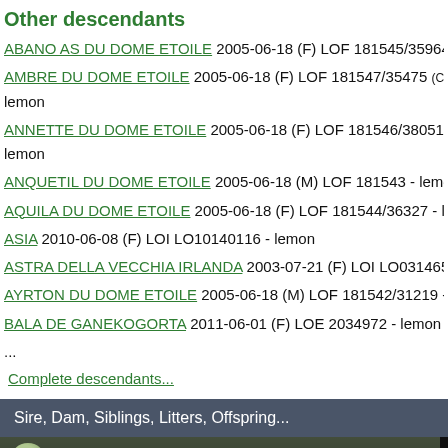Other descendants
ABANO AS DU DOME ETOILE 2005-06-18 (F) LOF 181545/35964 - le
AMBRE DU DOME ETOILE 2005-06-18 (F) LOF 181547/35475 (CH-TR lemon
ANNETTE DU DOME ETOILE 2005-06-18 (F) LOF 181546/38051 (TR, lemon
ANQUETIL DU DOME ETOILE 2005-06-18 (M) LOF 181543 - lemon
AQUILA DU DOME ETOILE 2005-06-18 (F) LOF 181544/36327 - lemo
ASIA 2010-06-08 (F) LOI LO10140116 - lemon
ASTRA DELLA VECCHIA IRLANDA 2003-07-21 (F) LOI LO03146574
AYRTON DU DOME ETOILE 2005-06-18 (M) LOF 181542/31219 - lem
BALA DE GANEKOGORTA 2011-06-01 (F) LOE 2034972 - lemon
...
Complete descendants...
Sire, Dam, Siblings, Litters, Offspring...
[Figure (screenshot): Video thumbnail showing 'Radentis Cobra' with an outdoor landscape scene, dark overlay header with avatar icon and title, and three-dot menu icon.]